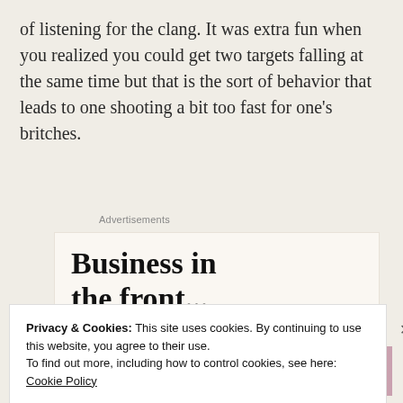of listening for the clang. It was extra fun when you realized you could get two targets falling at the same time but that is the sort of behavior that leads to one shooting a bit too fast for one's britches.
Advertisements
[Figure (screenshot): Advertisement box with headline 'Business in the front...' and WordPress banner with orange/gradient background]
Privacy & Cookies: This site uses cookies. By continuing to use this website, you agree to their use.
To find out more, including how to control cookies, see here: Cookie Policy
Close and accept